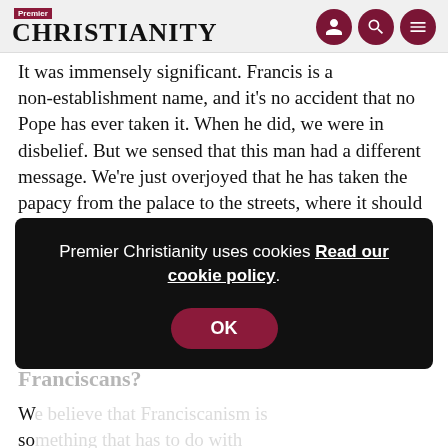Premier Christianity
It was immensely significant. Francis is a non-establishment name, and it's no accident that no Pope has ever taken it. When he did, we were in disbelief. But we sensed that this man had a different message. We're just overjoyed that he has taken the papacy from the palace to the streets, where it should have been all along. Which is what [St] Francis did, of course.
In what way has Pope Francis brought the spirit of St Francis to the historic relationship between the pa... and Francis?
W... so... w... al... behaviour, practice, lifestyle. Not what you say, but what you do.
[Figure (screenshot): Cookie consent popup overlay: 'Premier Christianity uses cookies Read our cookie policy.' with an OK button.]